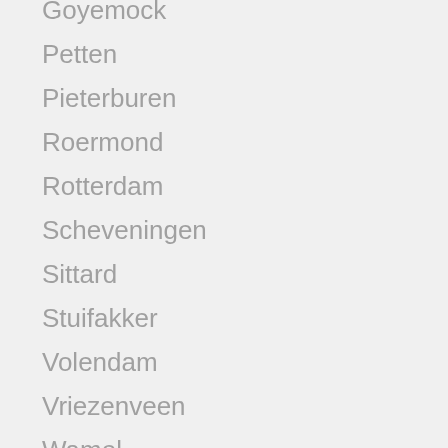Goyemock
Petten
Pieterburen
Roermond
Rotterdam
Scheveningen
Sittard
Stuifakker
Volendam
Vriezenveen
Wamel
Waskemeer
Werendijke
Westeind
Wijchen
Zaandijk
Zandvoort